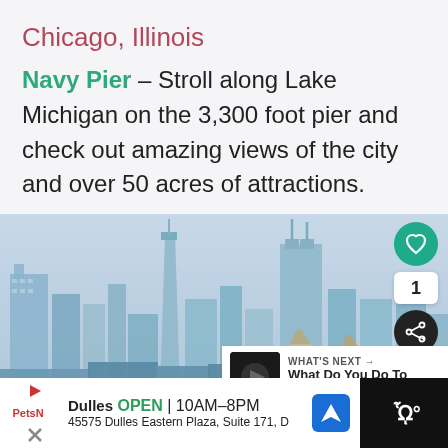Chicago, Illinois
Navy Pier – Stroll along Lake Michigan on the 3,300 foot pier and check out amazing views of the city and over 50 acres of attractions.
[Figure (photo): Photograph of the Chicago city skyline as seen from the water, showing tall skyscrapers under an overcast sky with a Ferris wheel visible at lower right.]
WHAT'S NEXT → What Do You Do To Stay...
Dulles OPEN | 10AM–8PM 45575 Dulles Eastern Plaza, Suite 171, D